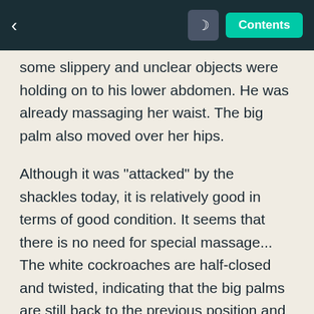< [moon] Contents
some slippery and unclear objects were holding on to his lower abdomen. He was already massaging her waist. The big palm also moved over her hips.
Although it was "attacked" by the shackles today, it is relatively good in terms of good condition. It seems that there is no need for special massage... The white cockroaches are half-closed and twisted, indicating that the big palms are still back to the previous position and continue to serve better. .
As a result, the disobedient palms were not retracted according to her wishes. Instead, they tried to grasp